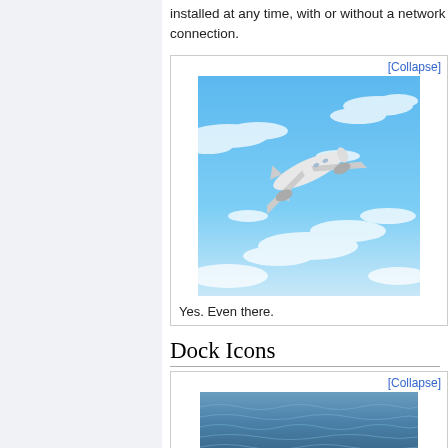installed at any time, with or without a network connection.
[Figure (photo): Airplane in flight against a blue sky with wispy clouds]
Yes. Even there.
Dock Icons
[Figure (photo): Ocean water surface, blue rippling waves]